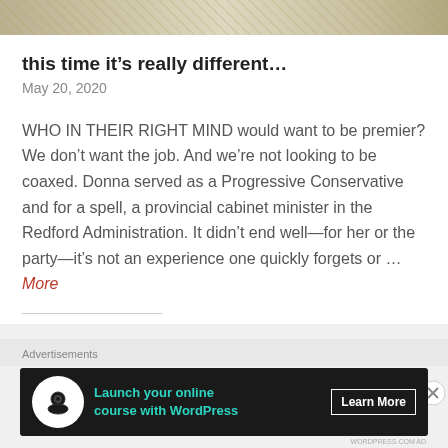[Figure (illustration): Top portion of a map illustration, partially visible at the top of the page]
this time it's really different…
May 20, 2020
WHO IN THEIR RIGHT MIND would want to be premier? We don't want the job. And we're not looking to be coaxed. Donna served as a Progressive Conservative and for a spell, a provincial cabinet minister in the Redford Administration. It didn't end well—for her or the party—it's not an experience one quickly forgets or … More
[Figure (other): Advertisement banner: Launch your online course with WordPress – Learn More]
Advertisements